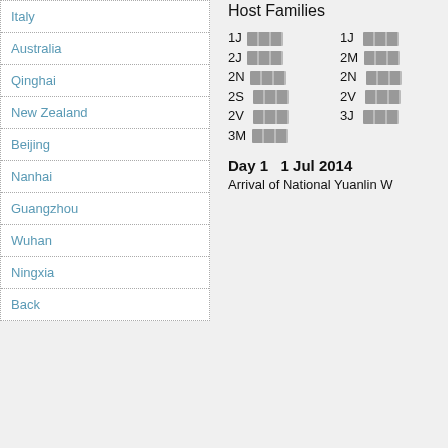Italy
Australia
Qinghai
New Zealand
Beijing
Nanhai
Guangzhou
Wuhan
Ningxia
Back
Host Families
1J [CJK]   1J [CJK]
2J [CJK]   2M [CJK]
2N [CJK]   2N [CJK]
2S [CJK]   2V [CJK]
2V [CJK]   3J [CJK]
3M [CJK]
Day 1   1 Jul 2014
Arrival of National Yuanlin W...